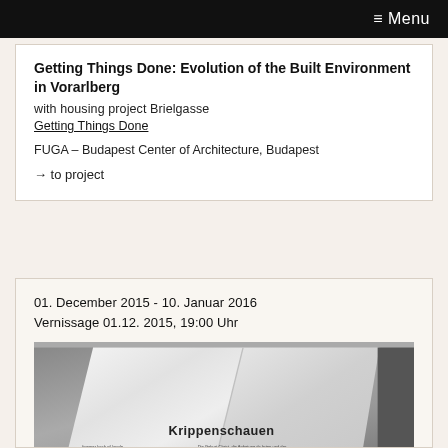≡ Menu
Getting Things Done: Evolution of the Built Environment in Vorarlberg
with housing project Brielgasse
Getting Things Done
FUGA – Budapest Center of Architecture, Budapest
→ to project
01. December 2015 - 10. Januar 2016
Vernissage 01.12. 2015, 19:00 Uhr
[Figure (photo): Black and white photo of an angular white sculptural architectural model or book, with 'Krippenschauen' text visible and small body text below it]